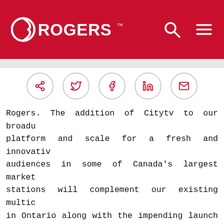[Figure (logo): Rogers Communications logo in white on red header background, with search icon and hamburger menu icon on the right]
[Figure (infographic): Social sharing icons row: share, Twitter, Facebook, LinkedIn, email — each in a circle outline]
Rogers. The addition of Citytv to our broad platform and scale for a fresh and innovativ audiences in some of Canada's largest market stations will complement our existing multic in Ontario along with the impending launch Edmonton. Rogers also recently applied to t acquisition of the Vancouver/Victoria multic combination of our existing television prope gives us a national television platform tha of service to local communities."